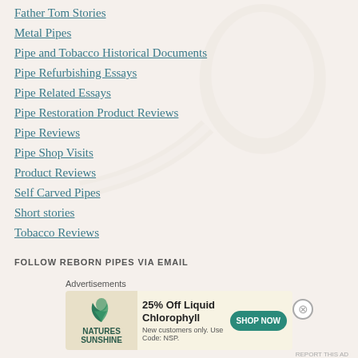Father Tom Stories
Metal Pipes
Pipe and Tobacco Historical Documents
Pipe Refurbishing Essays
Pipe Related Essays
Pipe Restoration Product Reviews
Pipe Reviews
Pipe Shop Visits
Product Reviews
Self Carved Pipes
Short stories
Tobacco Reviews
FOLLOW REBORN PIPES VIA EMAIL
Advertisements
[Figure (other): Advertisement banner for Nature's Sunshine: 25% Off Liquid Chlorophyll. New customers only. Use Code: NSP. Shop Now button.]